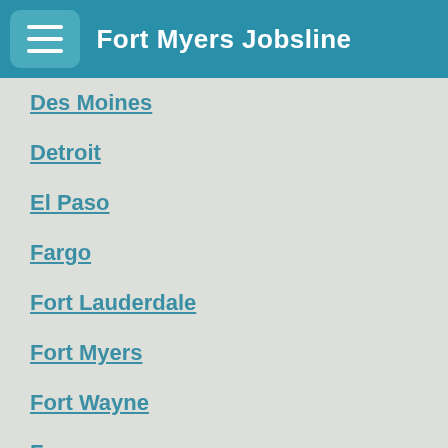Fort Myers Jobsline
Des Moines
Detroit
El Paso
Fargo
Fort Lauderdale
Fort Myers
Fort Wayne
Fresno
Gainesville
Greensboro
Hartford
Honolulu